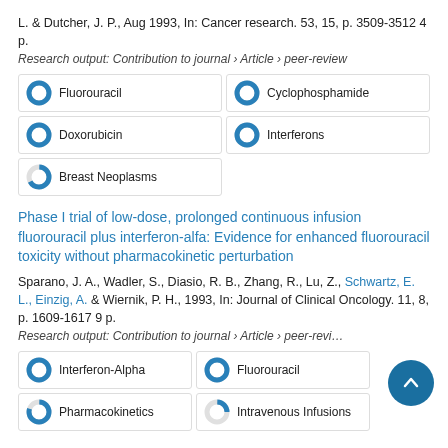L. & Dutcher, J. P., Aug 1993, In: Cancer research. 53, 15, p. 3509-3512 4 p.
Research output: Contribution to journal › Article › peer-review
[Figure (infographic): Fingerprint keyword badges: Fluorouracil 100%, Cyclophosphamide 100%, Doxorubicin 100%, Interferons 100%, Breast Neoplasms 67%]
Phase I trial of low-dose, prolonged continuous infusion fluorouracil plus interferon-alfa: Evidence for enhanced fluorouracil toxicity without pharmacokinetic perturbation
Sparano, J. A., Wadler, S., Diasio, R. B., Zhang, R., Lu, Z., Schwartz, E. L., Einzig, A. & Wiernik, P. H., 1993, In: Journal of Clinical Oncology. 11, 8, p. 1609-1617 9 p.
Research output: Contribution to journal › Article › peer-review
[Figure (infographic): Fingerprint keyword badges: Interferon-Alpha 100%, Fluorouracil 100%, Pharmacokinetics ~80%, Intravenous Infusions ~25%]